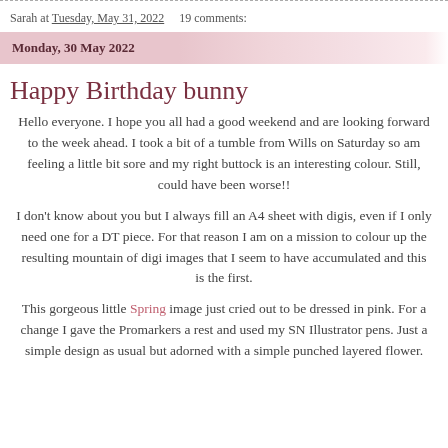Sarah at Tuesday, May 31, 2022   19 comments:
Monday, 30 May 2022
Happy Birthday bunny
Hello everyone. I hope you all had a good weekend and are looking forward to the week ahead. I took a bit of a tumble from Wills on Saturday so am feeling a little bit sore and my right buttock is an interesting colour. Still, could have been worse!!
I don't know about you but I always fill an A4 sheet with digis, even if I only need one for a DT piece. For that reason I am on a mission to colour up the resulting mountain of digi images that I seem to have accumulated and this is the first.
This gorgeous little Spring image just cried out to be dressed in pink. For a change I gave the Promarkers a rest and used my SN Illustrator pens. Just a simple design as usual but adorned with a simple punched layered flower.